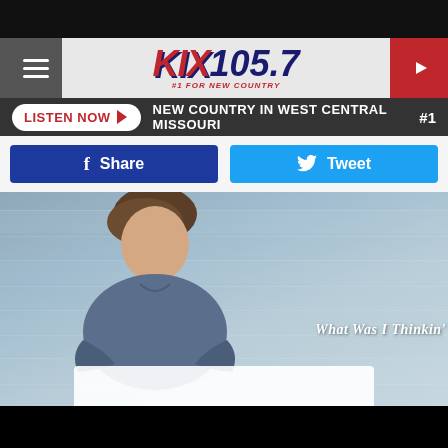[Figure (screenshot): KIX 105.7 radio station website header with logo, navigation hamburger menu, play button, Listen Now bar, Share and Tweet buttons, and album art photo of a young man with arms crossed in front of painted wooden planks background with text 'What Was I Thinkin'']
LISTEN NOW
NEW COUNTRY IN WEST CENTRAL MISSOURI
#1
Share
Tweet
What Was I Thinkin'